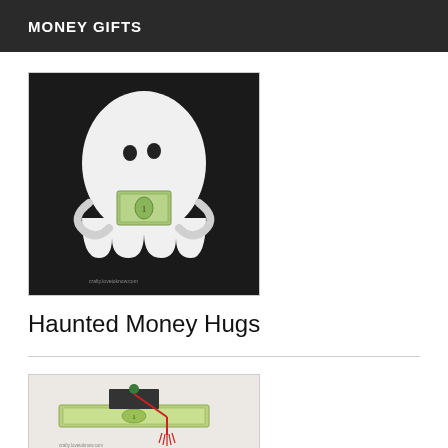MONEY GIFTS
[Figure (photo): A white ghost-shaped cutout holding a folded dollar bill, photographed against a black background. The ghost has two small black eyes and appears to be hugging the money.]
Haunted Money Hugs
[Figure (photo): A folded dollar bill shaped into a graduation cap with a green button on top and a red tassel hanging down, photographed against a light grey background.]